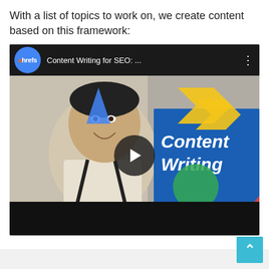With a list of topics to work on, we create content based on this framework:
[Figure (screenshot): Embedded YouTube video thumbnail from ahrefs channel titled 'Content Writing for SEO: ...' showing a man in suspenders and bow tie at a typewriter, with colorful graphic text overlay reading 'Content Writing FOR SE' on a blue and orange background, with a play button in the center.]